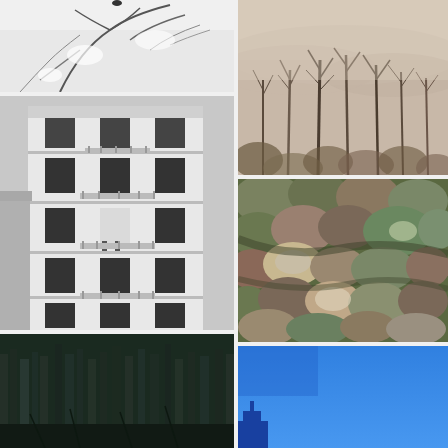[Figure (photo): Black and white aerial or close-up photo of bare tree branches with snow, light background]
[Figure (photo): Black and white photograph of a multi-story European-style apartment building facade with balconies and shuttered windows]
[Figure (photo): Dark green forest scene, partially visible at bottom, with tall dark pine trees]
[Figure (photo): Foggy misty forest scene in muted beige and brown tones, bare trees disappearing into fog]
[Figure (photo): Aerial view of dense forest canopy in autumn colors, various shades of brown, green, and muted tones]
[Figure (photo): Bright blue sky with gradient, partially cropped building or structure visible at bottom left]